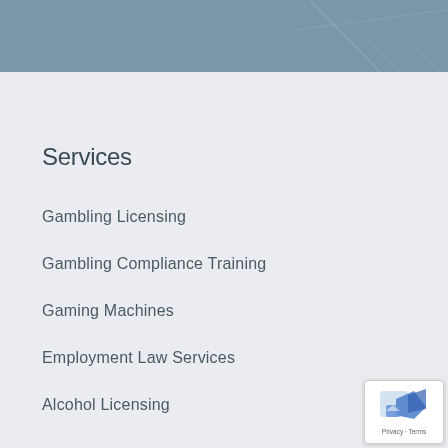[Figure (photo): Steel blue header banner with subtle decorative pattern]
Services
Gambling Licensing
Gambling Compliance Training
Gaming Machines
Employment Law Services
Alcohol Licensing
[Figure (logo): reCAPTCHA badge with Privacy and Terms links]